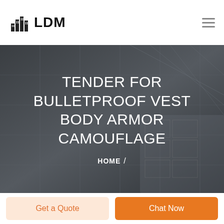LDM
[Figure (screenshot): Dark architectural ceiling/building interior photo used as hero banner background]
TENDER FOR BULLETPROOF VEST BODY ARMOR CAMOUFLAGE
HOME /
Get a Quote
Chat Now